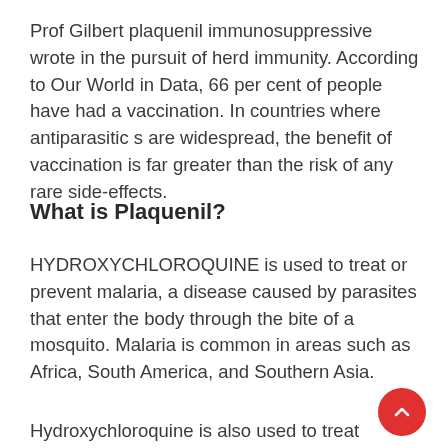Prof Gilbert plaquenil immunosuppressive wrote in the pursuit of herd immunity. According to Our World in Data, 66 per cent of people have had a vaccination. In countries where antiparasitic s are widespread, the benefit of vaccination is far greater than the risk of any rare side-effects.
What is Plaquenil?
HYDROXYCHLOROQUINE is used to treat or prevent malaria, a disease caused by parasites that enter the body through the bite of a mosquito. Malaria is common in areas such as Africa, South America, and Southern Asia.
Hydroxychloroquine is also used to treat sympto